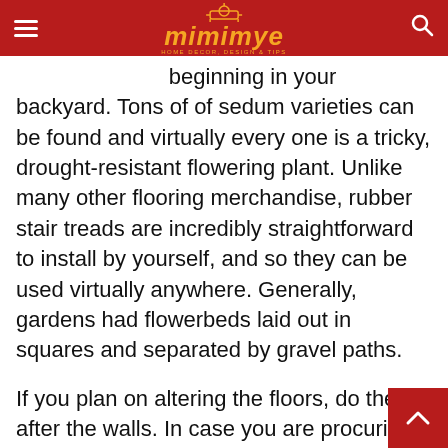mimimye — Home Decor, Design & Tips
beginning in your backyard. Tons of of sedum varieties can be found and virtually every one is a tricky, drought-resistant flowering plant. Unlike many other flooring merchandise, rubber stair treads are incredibly straightforward to install by yourself, and so they can be used virtually anywhere. Generally, gardens had flowerbeds laid out in squares and separated by gravel paths.
If you plan on altering the floors, do them after the walls. In case you are procuring round and find the same plan for a lower price on a competitor's web site, we are going to beat their often printed w by 5%. Just a few things to notice: our Low-Wo Guarantee applies to dwelling plans, not ancillary